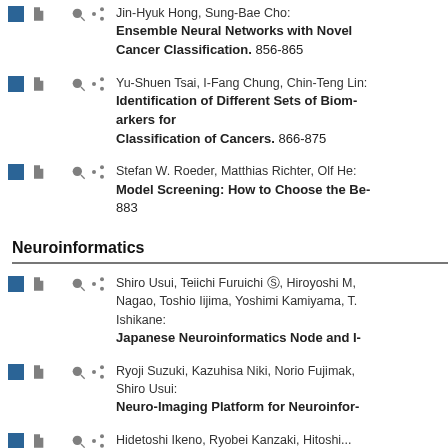Jin-Hyuk Hong, Sung-Bae Cho: Ensemble Neural Networks with Novel Cancer Classification. 856-865
Yu-Shuen Tsai, I-Fang Chung, Chin-Teng Lin: Identification of Different Sets of Biomarkers for Classification of Cancers. 866-875
Stefan W. Roeder, Matthias Richter, Olf He: Model Screening: How to Choose the Be... 883
Neuroinformatics
Shiro Usui, Teiichi Furuichi, Hiroyoshi M, Nagao, Toshio Iijima, Yoshimi Kamiyama, T. Ishikane: Japanese Neuroinformatics Node and ...
Ryoji Suzuki, Kazuhisa Niki, Norio Fujimak, Shiro Usui: Neuro-Imaging Platform for Neuroinfor...
Hidetoshi Ikeno, Ryobei Kanzaki, Hitoshi...